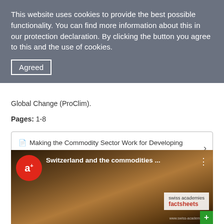This website uses cookies to provide the best possible functionality. You can find more information about this in our protection declaration. By clicking the button you agree to this and the use of cookies.
Agreed
Global Change (ProClim).
Pages: 1-8
Making the Commodity Sector Work for Developing Countries
[Figure (screenshot): Video thumbnail showing 'Switzerland and the commodities...' with a Swiss academies factsheets overlay and a person in background, with a red circular logo with 'a+' text]